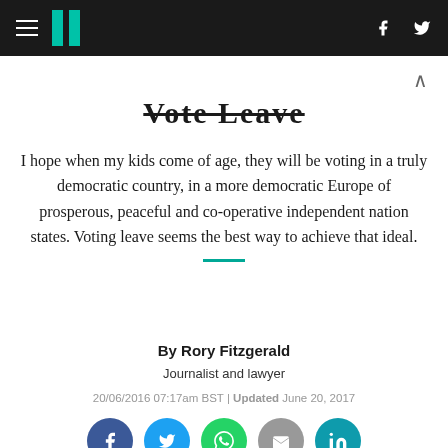HuffPost navigation header with logo, hamburger menu, Facebook and Twitter icons
Vote Leave
I hope when my kids come of age, they will be voting in a truly democratic country, in a more democratic Europe of prosperous, peaceful and co-operative independent nation states. Voting leave seems the best way to achieve that ideal.
By Rory Fitzgerald
Journalist and lawyer
20/06/2016 07:17am BST | Updated June 20, 2017
[Figure (infographic): Social sharing buttons: Facebook (dark blue), Twitter (light blue), WhatsApp (green), Email (grey), LinkedIn (teal)]